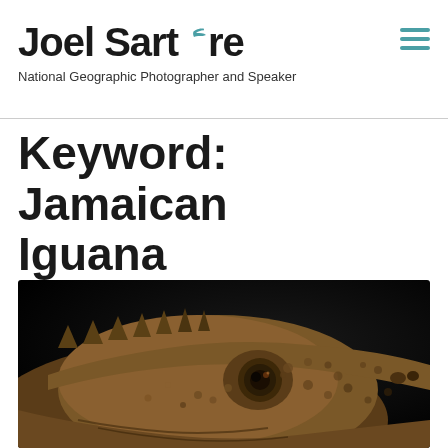Joel Sartore — National Geographic Photographer and Speaker
Keyword: Jamaican Iguana
[Figure (photo): Close-up portrait of a Jamaican Iguana against a black background, showing textured scaly skin, spines along the back, and a large dark eye.]